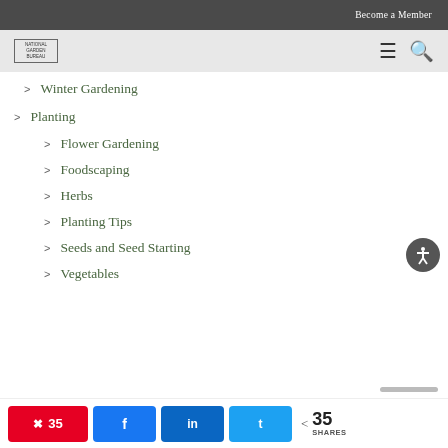Become a Member
[Figure (logo): National Garden Bureau logo in nav bar]
> Winter Gardening
> Planting
> Flower Gardening
> Foodscaping
> Herbs
> Planting Tips
> Seeds and Seed Starting
> Vegetables
35 SHARES